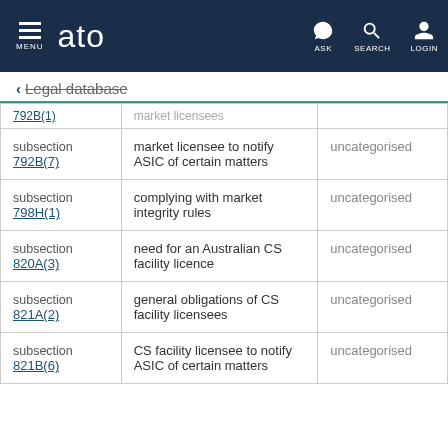MENU | ato | ASK | SEARCH | LOGIN
← Legal database
|  |  |  |
| --- | --- | --- |
| [...](1) | market licensees |  |
| subsection 792B(7) | market licensee to notify ASIC of certain matters | uncategorised |
| subsection 798H(1) | complying with market integrity rules | uncategorised |
| subsection 820A(3) | need for an Australian CS facility licence | uncategorised |
| subsection 821A(2) | general obligations of CS facility licensees | uncategorised |
| subsection 821B(6) | CS facility licensee to notify ASIC of certain matters | uncategorised |